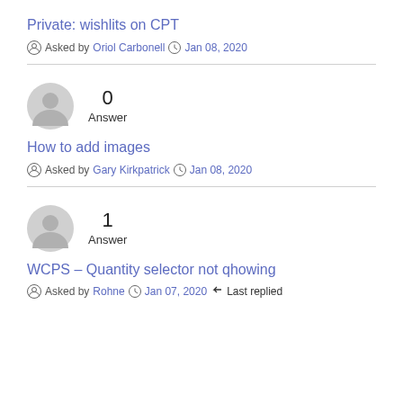Private: wishlits on CPT
Asked by Oriol Carbonell  Jan 08, 2020
0 Answer
How to add images
Asked by Gary Kirkpatrick  Jan 08, 2020
1 Answer
WCPS – Quantity selector not qhowing
Asked by Rohne  Jan 07, 2020  Last replied